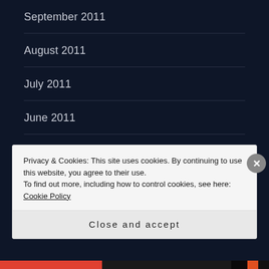September 2011
August 2011
July 2011
June 2011
May 2011
April 2011
CATEGORIES
Privacy & Cookies: This site uses cookies. By continuing to use this website, you agree to their use.
To find out more, including how to control cookies, see here: Cookie Policy
Close and accept